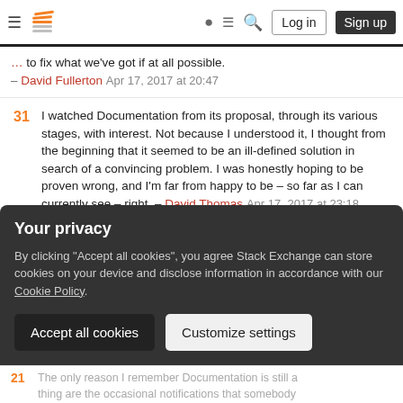Stack Exchange navigation bar with hamburger menu, logo, help, chat, search, Log in and Sign up buttons
to fix what we've got if at all possible. – David Fullerton Apr 17, 2017 at 20:47
31  I watched Documentation from its proposal, through its various stages, with interest. Not because I understood it, I thought from the beginning that it seemed to be an ill-defined solution in search of a convincing problem. I was honestly hoping to be proven wrong, and I'm far from happy to be – so far as I can currently see – right. – David Thomas Apr 17, 2017 at 23:18
17  @Jaydles But you never acknowledge the criticisms that the project is poorly motivated or that the experts
Your privacy
By clicking "Accept all cookies", you agree Stack Exchange can store cookies on your device and disclose information in accordance with our Cookie Policy.
Accept all cookies  Customize settings
The only reason I remember Documentation is still a thing are the occasional notifications that somebody